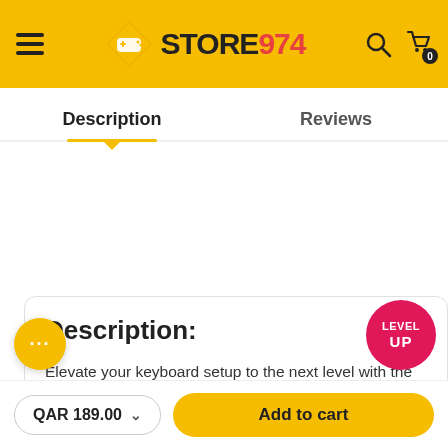[Figure (screenshot): Store974 e-commerce website header with yellow background, hamburger menu, diamond logo with gamepad icon, STORE974 text logo, search icon, and cart icon with badge showing 0]
Description | Reviews
Description:
Elevate your keyboard setup to the next level with the CableMod Pro Keyboard Cable. Made for keyboards with a USB-C port, this coiled keyboard cable is sleeved with both ModFlex and ModMesh sleeving, and is the ultimate accessory to make your keyboard setup pop.
Legendary Sleeving
bleMod Pro Keyboard Cable begins with a